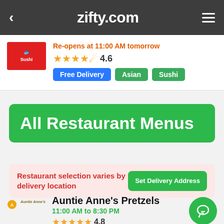zifty.com
Re-opens at 11:00 AM tomorrow
4.6
Free Delivery  Asian  Sushi
All Restaurant Menus
Restaurant selection varies by delivery location
Set Delivery Address
Auntie Anne's Pretzels
11:00 AM to 8:30 PM
4.8